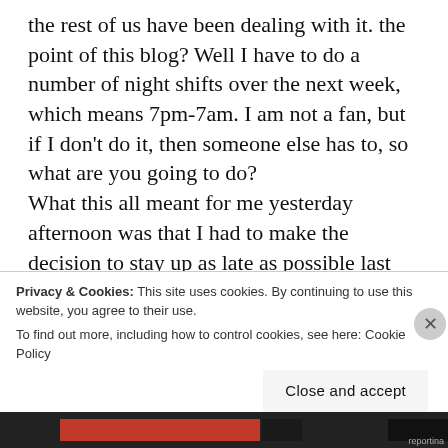the rest of us have been dealing with it. the point of this blog? Well I have to do a number of night shifts over the next week, which means 7pm-7am. I am not a fan, but if I don't do it, then someone else has to, so what are you going to do? What this all meant for me yesterday afternoon was that I had to make the decision to stay up as late as possible last night & prepare my body for the late night I have coming this evening. It was aided by two things. No.1 I had to get up at 4am to say bye to Georgie & Julie who had to get to the airport for 7am flights, and No.2 There was a party
Privacy & Cookies: This site uses cookies. By continuing to use this website, you agree to their use.
To find out more, including how to control cookies, see here: Cookie Policy
Close and accept